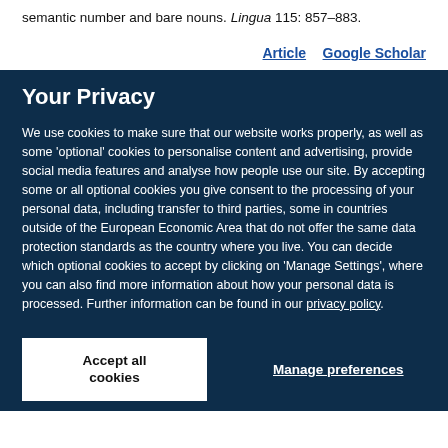Deprez, V. Maier 2005 Morphological number, semantic number and bare nouns. Lingua 115: 857–883.
Article   Google Scholar
Your Privacy
We use cookies to make sure that our website works properly, as well as some 'optional' cookies to personalise content and advertising, provide social media features and analyse how people use our site. By accepting some or all optional cookies you give consent to the processing of your personal data, including transfer to third parties, some in countries outside of the European Economic Area that do not offer the same data protection standards as the country where you live. You can decide which optional cookies to accept by clicking on 'Manage Settings', where you can also find more information about how your personal data is processed. Further information can be found in our privacy policy.
Accept all cookies
Manage preferences